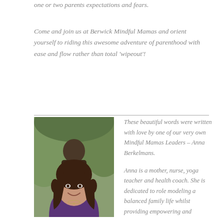one or two parents expectations and fears.
Come and join us at Berwick Mindful Mamas and orient yourself to riding this awesome adventure of parenthood with ease and flow rather than total 'wipeout'!
[Figure (photo): Portrait photo of a smiling young woman with curly brown hair wearing a purple top, photographed outdoors with a green/brown blurred background.]
These beautiful words were written with love by one of our very own Mindful Mamas Leaders – Anna Berkelmans.
Anna is a mother, nurse, yoga teacher and health coach.  She is dedicated to role modeling a balanced family life whilst providing empowering and